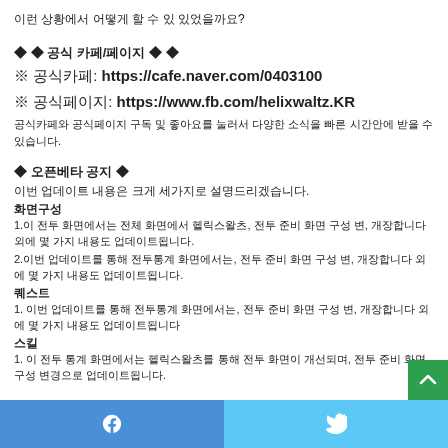이런 상황에서 어떻게 할 수 있 있었을까요?
◆ ◆ 공식 카페/페이지 ◆ ◆
※ 공식카페: https://cafe.naver.com/0403100
※ 공식페이지: https://www.fb.com/helixwaltz.KR
공식카페와 공식페이지 구독 및 좋아요를 눌러서 다양한 소식을 빠른 시간안에 받을 수 있습니다.
◆ 오픈베타 공지 ◆
이번 업데이트 내용은 크게 세가지로 설명드리겠습니다.
화면구성
1.이 전투 화면에서는 전체 화면에서 헬릭스왈츠, 전투 준비 화면 구성 변, 개장합니다 외에 몇 가지 내용도 업데이트됩니다.
2.이번 업데이트를 통해 전투통계 화면에서는, 전투 준비 화면 구성 변, 개장합니다 외에 몇 가지 내용도 업데이트됩니다.
퀘스트
1.  이번 업데이트를 통해 전투통계 화면에서는, 전투 준비 화면 구성 변, 개장합니다 외에 몇 가지 내용도 업데이트됩니다
스킬
1.  이 전투 통계 화면에서는 헬릭스왈츠를 통해 전투 화면이 개선되며, 전투 준비 화면 구성 변경으로 업데이트됩니다.